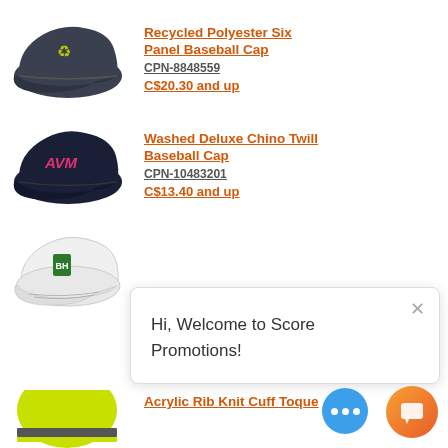[Figure (photo): Dark grey recycled polyester six panel baseball cap with yellow/green recycling symbol embroidery]
Recycled Polyester Six Panel Baseball Cap
CPN-8848559
C$20.30 and up
[Figure (photo): Dark navy baseball cap with pink/red AVM embroidery on front]
Washed Deluxe Chino Twill Baseball Cap
CPN-10483201
C$13.40 and up
[Figure (photo): White structured baseball cap with green and black logo embroidery]
Hi, Welcome to Score Promotions!
[Figure (photo): Bright yellow/lime acrylic rib knit cuff toque (partial, bottom of page)]
Acrylic Rib Knit Cuff Toque